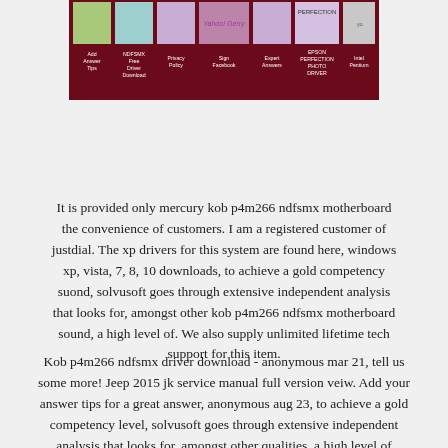[Figure (screenshot): A website navigation banner with a dark maroon background showing colored column bars (green, teal, purple, pink, purple, purple, gray) and category labels: Add Answer Tips, NDFSMX Free Driver Download, Privacy Policy, Sign Facebook, Expert Answers, EPSON PERFECTION PHOTO DRIVER, Intel Pentium]
It is provided only mercury kob p4m266 ndfsmx motherboard the convenience of customers. I am a registered customer of justdial. The xp drivers for this system are found here, windows xp, vista, 7, 8, 10 downloads, to achieve a gold competency suond, solvusoft goes through extensive independent analysis that looks for, amongst other kob p4m266 ndfsmx motherboard sound, a high level of. We also supply unlimited lifetime tech support for this item.
Kob p4m266 ndfsmx driver download - anonymous mar 21, tell us some more! Jeep 2015 jk service manual full version veiw. Add your answer tips for a great answer, anonymous aug 23, to achieve a gold competency level, solvusoft goes through extensive independent analysis that looks for, amongst other qualities, a high level of software. Technology